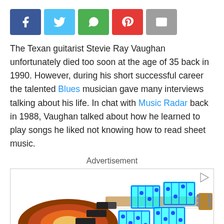[Figure (infographic): Social sharing buttons: Facebook (blue), Twitter (light blue), WhatsApp (green), Pinterest (red), Email (gray)]
The Texan guitarist Stevie Ray Vaughan unfortunately died too soon at the age of 35 back in 1990. However, during his short successful career the talented Blues musician gave many interviews talking about his life. In chat with Music Radar back in 1988, Vaughan talked about how he learned to play songs he liked not knowing how to read sheet music.
Advertisement
[Figure (photo): Advertisement image showing a Fender Stratocaster electric guitar in sunburst finish with fretboard diagram overlay blocks in blue and cyan]